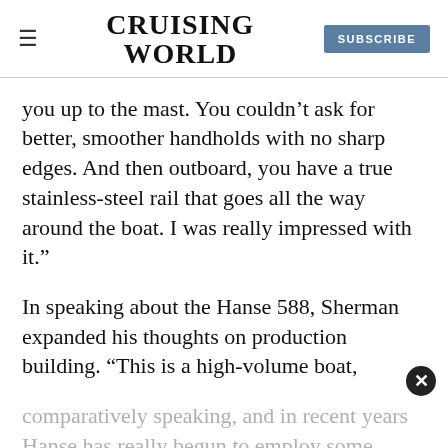CRUISING WORLD
you up to the mast. You couldn’t ask for better, smoother handholds with no sharp edges. And then outboard, you have a true stainless-steel rail that goes all the way around the boat. I was really impressed with it.”
In speaking about the Hanse 588, Sherman expanded his thoughts on production building. “This is a high-volume boat, comparatively speaking, and in recent years Hanse has really begun to employ some streamlined manufacturing